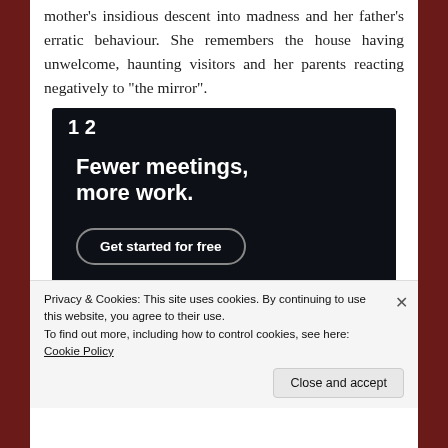mother's insidious descent into madness and her father's erratic behaviour. She remembers the house having unwelcome, haunting visitors and her parents reacting negatively to “the mirror”.
[Figure (other): Dark advertisement banner with white bold text reading 'Fewer meetings, more work.' and a 'Get started for free' button]
Privacy & Cookies: This site uses cookies. By continuing to use this website, you agree to their use.
To find out more, including how to control cookies, see here: Cookie Policy
Close and accept